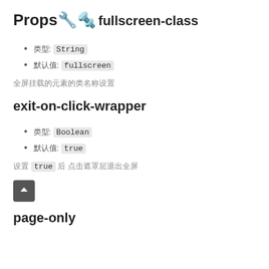Props🔧🔩
fullscreen-class
类型: String
默认值: fullscreen
全屏挂载的元素的类名称设置
exit-on-click-wrapper
类型: Boolean
默认值: true
设置 true 后 点击遮罩层退出全屏
page-only